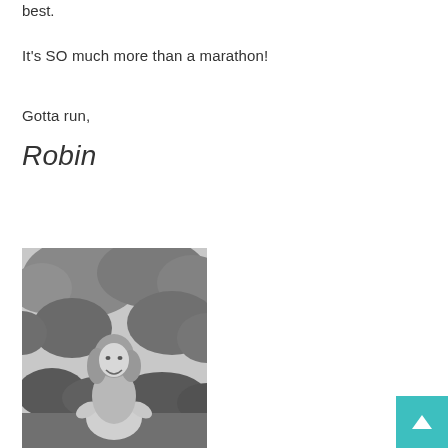best.
It's SO much more than a marathon!
Gotta run,
Robin
[Figure (photo): Black and white photo of a smiling woman with curly hair standing outdoors with trees and bushes in the background, hands on hips.]